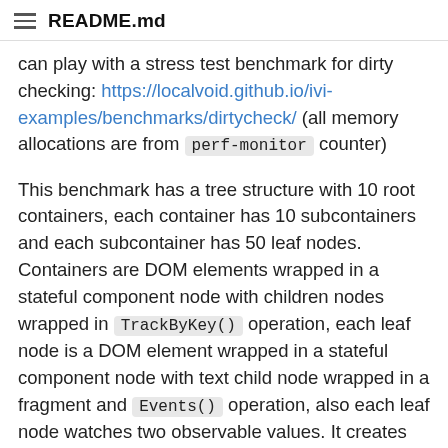README.md
can play with a stress test benchmark for dirty checking: https://localvoid.github.io/ivi-examples/benchmarks/dirtycheck/ (all memory allocations are from perf-monitor counter)
This benchmark has a tree structure with 10 root containers, each container has 10 subcontainers and each subcontainer has 50 leaf nodes. Containers are DOM elements wrapped in a stateful component node with children nodes wrapped in TrackByKey() operation, each leaf node is a DOM element wrapped in a stateful component node with text child node wrapped in a fragment and Events() operation, also each leaf node watches two observable values. It creates so many unnecessary layers to get a better understanding how it will behave in the worst case scenarios.